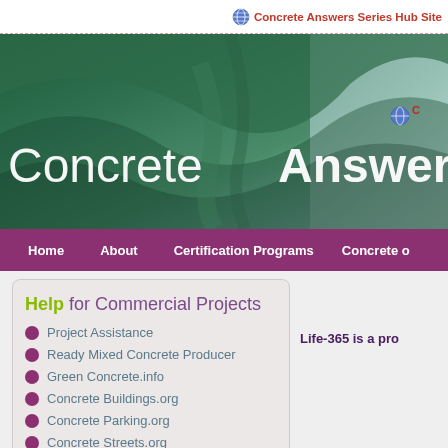Concrete Answers Series Hub Site
[Figure (screenshot): ConcreteAnswers website banner with green/teal swooping architectural design and white text logo]
Home   About   Certification Programs   Concrete o
Help for Commercial Projects
Project Assistance
Ready Mixed Concrete Producer
Green Concrete.info
Concrete Buildings.org
Concrete Parking.org
Concrete Streets.org
Flowable Fill.org
Life-365 is a pro